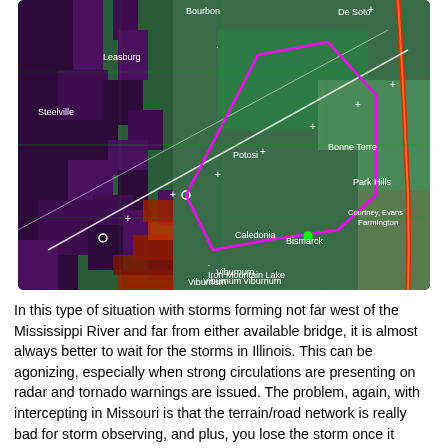[Figure (map): Radar/satellite map of southeastern Missouri showing storm cells (purple and dark areas with red patches indicating precipitation/rotation), a magenta polygon outlining a warning or watch area, white diagonal lines (possibly storm motion vectors), and town labels including Bourbon, Leasburg, Steelville, Viburnum, Potosi, Caledonia, De Soto, Bonne Terre, Park Hills, Farmington, Bismarck, Iron Mountain Lake. A red highway runs along the right edge.]
In this type of situation with storms forming not far west of the Mississippi River and far from either available bridge, it is almost always better to wait for the storms in Illinois. This can be agonizing, especially when strong circulations are presenting on radar and tornado warnings are issued. The problem, again, with intercepting in Missouri is that the terrain/road network is really bad for storm observing, and plus, you lose the storm once it crosses the river. The only real place with visibility/terrain to intercept in this part of Missouri anyway is along I-55 and the river bottoms to the